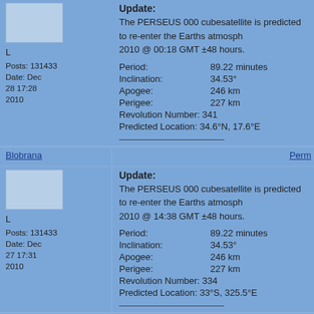Update:
The PERSEUS 000 cubesatellite is predicted to re-enter the Earths atmosphere 2010 @ 00:18 GMT ±48 hours.
Period: 89.22 minutes
Inclination: 34.53°
Apogee: 246 km
Perigee: 227 km
Revolution Number: 341
Predicted Location: 34.6°N, 17.6°E
L
Posts: 131433
Date: Dec 28 17:28 2010
Blobrana
Perm
Update:
The PERSEUS 000 cubesatellite is predicted to re-enter the Earths atmosphere 2010 @ 14:38 GMT ±48 hours.
Period: 89.22 minutes
Inclination: 34.53°
Apogee: 246 km
Perigee: 227 km
Revolution Number: 334
Predicted Location: 33°S, 325.5°E
L
Posts: 131433
Date: Dec 27 17:31 2010
Blobrana
Perm